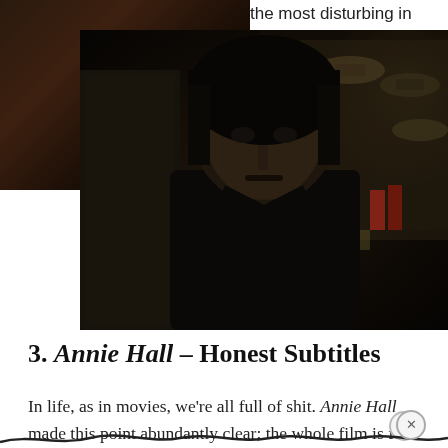the most disturbing in
[Figure (screenshot): Video thumbnail with play button overlay showing a dark scene with a person, overlapping with a larger movie still]
[Figure (photo): Movie still from No Country for Old Men showing a man with dark bowl-cut hair in a dark shirt inside a shop with hats visible in background]
3. Annie Hall – Honest Subtitles
In life, as in movies, we're all full of shit. Annie Hall made this point abundantly clear; the whole film is fu